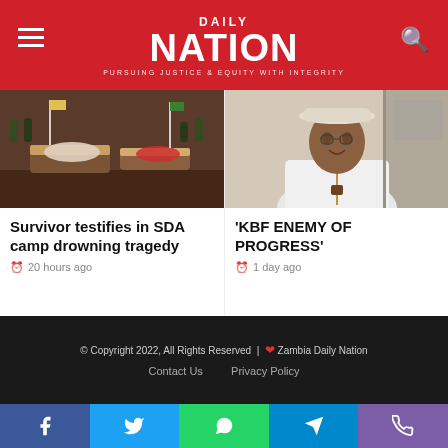DAILY NATION — Pursuing Justice & Equity With Integrity
[Figure (photo): Coffins laid out at a funeral event with people standing in the background]
Survivor testifies in SDA camp drowning tragedy
20 hours ago
[Figure (photo): Man in white shirt and white hat smiling at the camera]
'KBF ENEMY OF PROGRESS'
1 day ago
© Copyright 2022, All Rights Reserved | ❤ Zambia Daily Nation — Contact Us  Privacy Policy